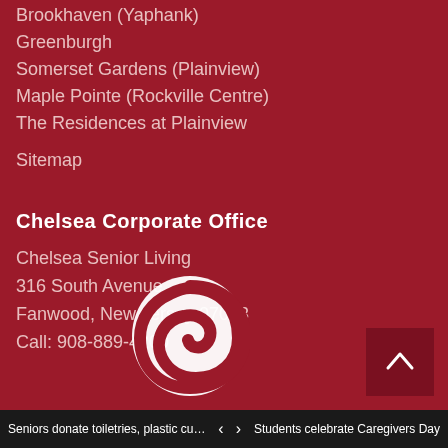Brookhaven (Yaphank)
Greenburgh
Somerset Gardens (Plainview)
Maple Pointe (Rockville Centre)
The Residences at Plainview
Sitemap
Chelsea Corporate Office
Chelsea Senior Living
316 South Avenue
Fanwood, New Jersey 07023
Call: 908-889-4200
[Figure (logo): Chelsea Senior Living spiral C logo in white on dark red background]
Seniors donate toiletries, plastic cu... | < | > | Students celebrate Caregivers Day